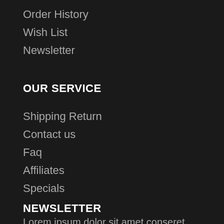Order History
Wish List
Newsletter
OUR SERVICE
Shipping Return
Contact us
Faq
Affiliates
Specials
NEWSLETTER
Lorem ipsum dolor sit amet conseret adipiscing elit sed